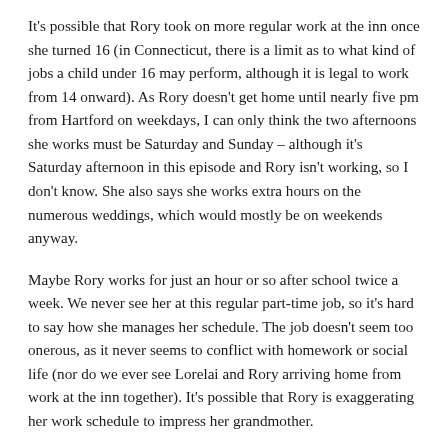It's possible that Rory took on more regular work at the inn once she turned 16 (in Connecticut, there is a limit as to what kind of jobs a child under 16 may perform, although it is legal to work from 14 onward). As Rory doesn't get home until nearly five pm from Hartford on weekdays, I can only think the two afternoons she works must be Saturday and Sunday – although it's Saturday afternoon in this episode and Rory isn't working, so I don't know. She also says she works extra hours on the numerous weddings, which would mostly be on weekends anyway.
Maybe Rory works for just an hour or so after school twice a week. We never see her at this regular part-time job, so it's hard to say how she manages her schedule. The job doesn't seem too onerous, as it never seems to conflict with homework or social life (nor do we ever see Lorelai and Rory arriving home from work at the inn together). It's possible that Rory is exaggerating her work schedule to impress her grandmother.
A.O.   S1Ep19: Emily in Wonderland   Leave a comment   April 10, 2018